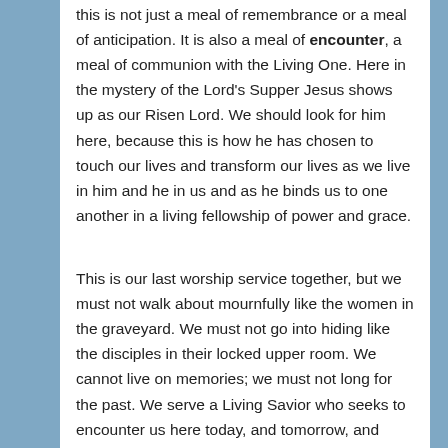this is not just a meal of remembrance or a meal of anticipation.  It is also a meal of encounter, a meal of communion with the Living One.    Here in the mystery of the Lord's Supper Jesus shows up as our Risen Lord.  We should look for him here, because this is how he has chosen to touch our lives and transform our lives as we live in him and he in us and as he binds us to one another in a living fellowship of power and grace.
This is our last worship service together, but we must not walk about mournfully like the women in the graveyard.  We must not go into hiding like the disciples in their locked upper room.  We cannot live on memories; we must not long for the past.  We serve a Living Savior who seeks to encounter us here today, and tomorrow, and